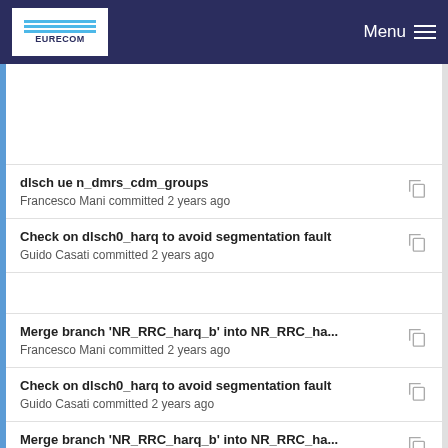EURECOM | Menu
dlsch ue n_dmrs_cdm_groups
Francesco Mani committed 2 years ago
Check on dlsch0_harq to avoid segmentation fault
Guido Casati committed 2 years ago
Merge branch 'NR_RRC_harq_b' into NR_RRC_ha...
Francesco Mani committed 2 years ago
Check on dlsch0_harq to avoid segmentation fault
Guido Casati committed 2 years ago
Merge branch 'NR_RRC_harq_b' into NR_RRC_ha...
Francesco Mani committed 2 years ago
Fixed bugs in pusch UE